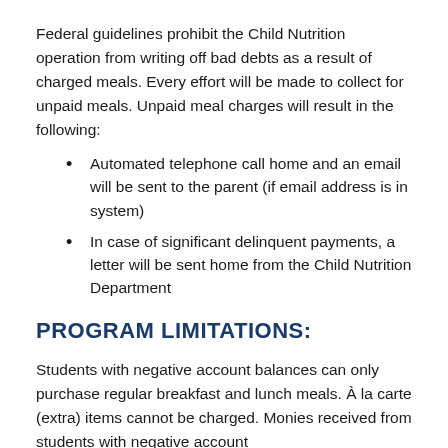Federal guidelines prohibit the Child Nutrition operation from writing off bad debts as a result of charged meals. Every effort will be made to collect for unpaid meals. Unpaid meal charges will result in the following:
Automated telephone call home and an email will be sent to the parent (if email address is in system)
In case of significant delinquent payments, a letter will be sent home from the Child Nutrition Department
PROGRAM LIMITATIONS:
Students with negative account balances can only purchase regular breakfast and lunch meals. À la carte (extra) items cannot be charged. Monies received from students with negative account